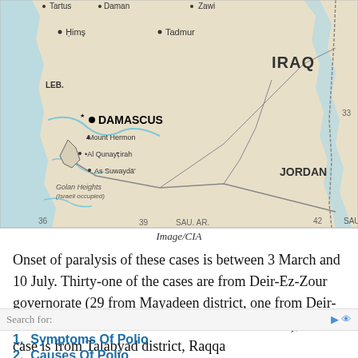[Figure (map): Map of Syria and surrounding region showing IRAQ to the east, JORDAN to the south, LEB. to the west, with cities including DAMASCUS, Hims, Tadmur, Tartus, Daman, Zawi, Mount Hermon, Al Qunaytirah, As Suwayda, and geographic features. Also shows Golan Heights (Israeli occupied) and SAU. AR. Coordinate markers 36, 39, 42 visible along bottom and 33 on right side.]
Image/CIA
Onset of paralysis of these cases is between 3 March and 10 July. Thirty-one of the cases are from Deir-Ez-Zour governorate (29 from Mayadeen district, one from Deir-Ez-Zour district and one from Boukamal district); one case is from Talabyad district, Raqqa
1. Symptoms Of Polio
2. Causes Of Polio